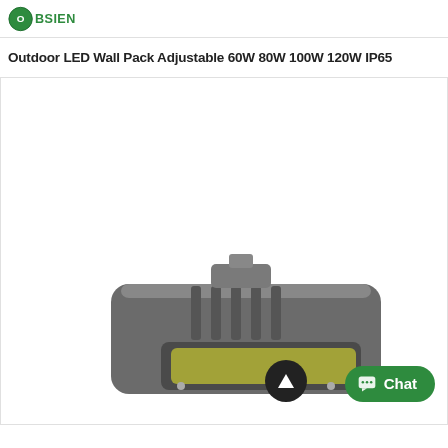OBSIEN (logo)
Outdoor LED Wall Pack Adjustable 60W 80W 100W 120W IP65
[Figure (photo): Product image of an outdoor LED wall pack light fixture (gray, rectangular, with fins) with a chat button overlay and an up-arrow scroll button.]